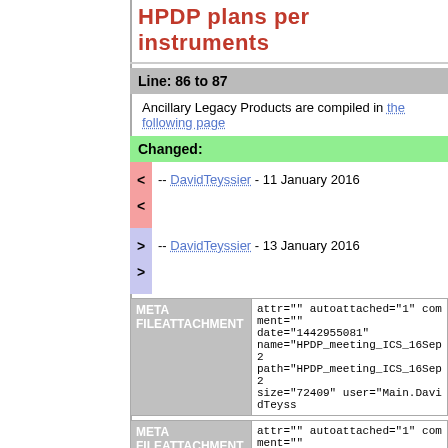HPDP plans per instruments
Line: 86 to 87
Ancillary Legacy Products are compiled in the following page
Changed:
< < -- DavidTeyssier - 11 January 2016
> > -- DavidTeyssier - 13 January 2016
| META FILEATTACHMENT | attr="" autoattached="1" comment="" date="1442955081" name="HPDP_meeting_ICS_16Sep2..." path="HPDP_meeting_ICS_16Sep2..." size="72409" user="Main.DavidTeyss..." |
| --- | --- |
| META FILEATTACHMENT | attr="" autoattached="1" comment="" date="1434526816" name="HPDP_meeting_ICS_16June..." path="HPDP_meeting_ICS_16June2..." size="1454187" user="Main.DavidTey..." |
| --- | --- |
| META | attr="" autoattached="1" comment="" |
| --- | --- |